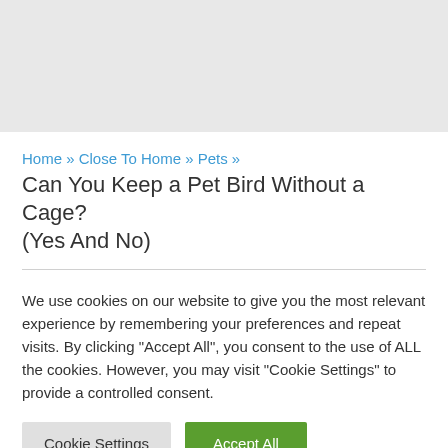[Figure (other): Gray header banner area at the top of the page]
Home » Close To Home » Pets »
Can You Keep a Pet Bird Without a Cage? (Yes And No)
We use cookies on our website to give you the most relevant experience by remembering your preferences and repeat visits. By clicking "Accept All", you consent to the use of ALL the cookies. However, you may visit "Cookie Settings" to provide a controlled consent.
Cookie Settings | Accept All